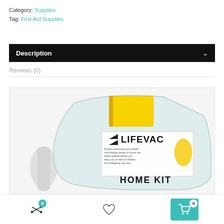Category: Supplies
Tag: First Aid Supplies
Description
Reviews (0)
[Figure (photo): LifeVac Home Kit product in clear plastic packaging with yellow book/instruction manual visible, showing LifeVac logo and HOME KIT text]